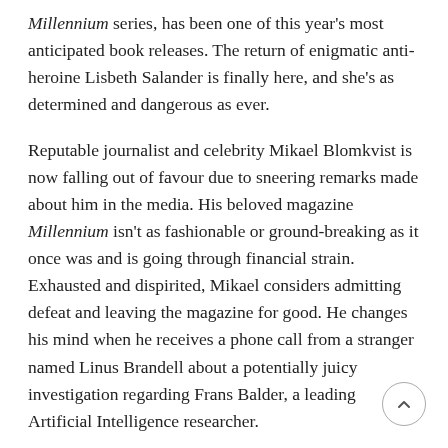Millennium series, has been one of this year's most anticipated book releases. The return of enigmatic anti-heroine Lisbeth Salander is finally here, and she's as determined and dangerous as ever.
Reputable journalist and celebrity Mikael Blomkvist is now falling out of favour due to sneering remarks made about him in the media. His beloved magazine Millennium isn't as fashionable or ground-breaking as it once was and is going through financial strain. Exhausted and dispirited, Mikael considers admitting defeat and leaving the magazine for good. He changes his mind when he receives a phone call from a stranger named Linus Brandell about a potentially juicy investigation regarding Frans Balder, a leading Artificial Intelligence researcher.